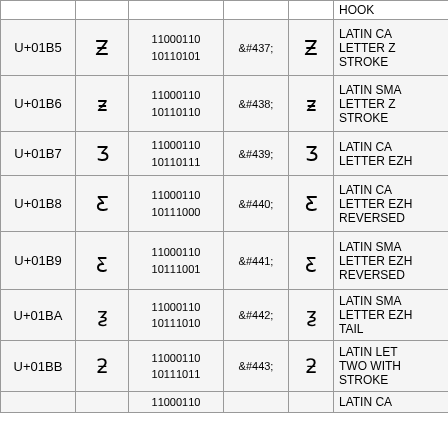| Code | Glyph | Binary | HTML | Rendered | Name |
| --- | --- | --- | --- | --- | --- |
|  |  |  | HOOK |
| U+01B5 | Ƶ | 11000110 10110101 | &#437; | Ƶ | LATIN CAPITAL LETTER Z WITH STROKE |
| U+01B6 | ƶ | 11000110 10110110 | &#438; | ƶ | LATIN SMALL LETTER Z WITH STROKE |
| U+01B7 | Ʒ | 11000110 10110111 | &#439; | Ʒ | LATIN CAPITAL LETTER EZH |
| U+01B8 | Ƹ | 11000110 10111000 | &#440; | Ƹ | LATIN CAPITAL LETTER EZH REVERSED |
| U+01B9 | ƹ | 11000110 10111001 | &#441; | ƹ | LATIN SMALL LETTER EZH REVERSED |
| U+01BA | ƺ | 11000110 10111010 | &#442; | ƺ | LATIN SMALL LETTER EZH WITH TAIL |
| U+01BB | ƻ | 11000110 10111011 | &#443; | ƻ | LATIN LETTER TWO WITH STROKE |
|  |  | 11000110 |  |  | LATIN CAPITAL |